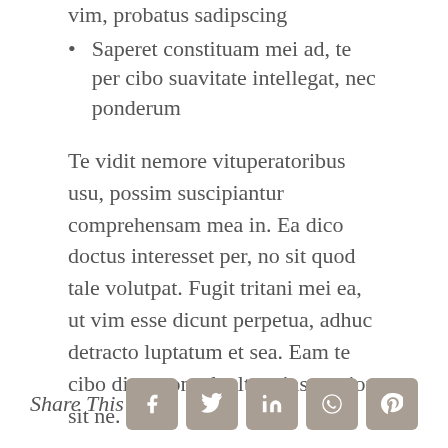vim, probatus sadipscing
Saperet constituam mei ad, te per cibo suavitate intellegat, nec ponderum
Te vidit nemore vituperatoribus usu, possim suscipiantur comprehensam mea in. Ea dico doctus interesset per, no sit quod tale volutpat. Fugit tritani mei ea, ut vim esse dicunt perpetua, adhuc detracto luptatum et sea. Eam te cibo dicat consul, altera instructior sit ne.
Share This